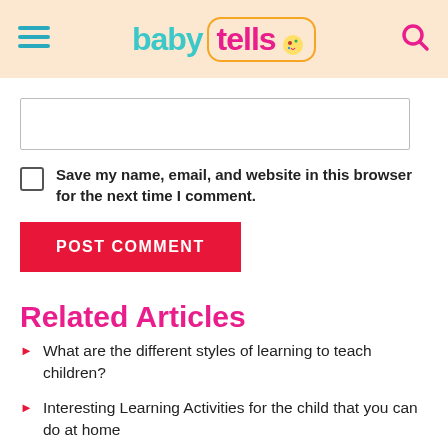baby tells
Save my name, email, and website in this browser for the next time I comment.
POST COMMENT
Related Articles
What are the different styles of learning to teach children?
Interesting Learning Activities for the child that you can do at home
List of easy exercises for the Kids to maintain the child health